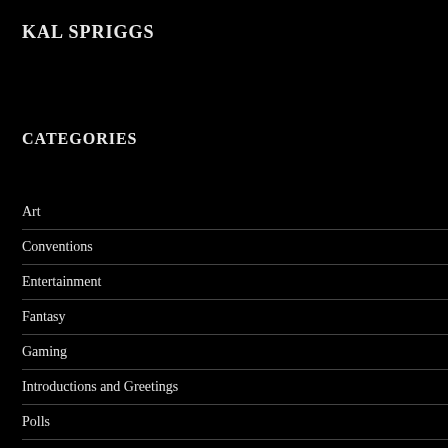KAL SPRIGGS
CATEGORIES
Art
Conventions
Entertainment
Fantasy
Gaming
Introductions and Greetings
Polls
Reading